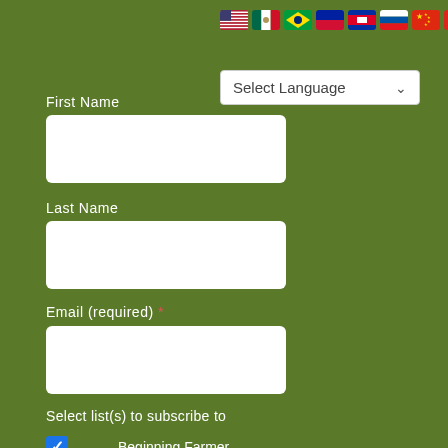[Figure (infographic): Row of country flag icons (USA, Mexico, Brazil, Haiti, Cambodia, Russia, China, Vietnam, and an Arabic/globe flag) at top of page]
[Figure (screenshot): Dropdown selector with text 'Select Language' and a down-arrow chevron on a white background]
First Name
[Figure (other): Empty white input field for First Name]
Last Name
[Figure (other): Empty white input field for Last Name]
Email (required) *
[Figure (other): Empty white input field for Email]
Select list(s) to subscribe to
Beginning Farmer (checked)
Farmers (unchecked)
General Interest (unchecked)
Sign up
[Figure (logo): Google reCAPTCHA privacy badge with shield icon and Privacy - Terms text]